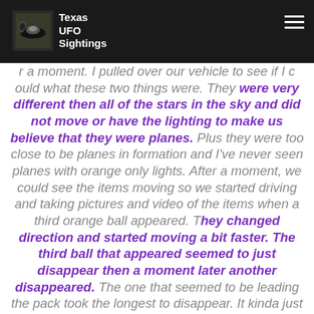Texas UFO Sightings
r a moment. I pulled over our vehicle to see if I could what these two things were. They were very different then all of the stars in the sky and did not move or have the lighting to make us believe that they were planes. Plus they were too close to be planes in formation and I've never seen planes with orange only lights. After a moment, we could see the items moving so we started driving and taking pictures and video of the items when a third orange ball appeared. They changed direction and started moving a bit faster. The third ball that appeared seemed to just disappear then a moment later another disappeared. The one that seemed to be leading the pack took the longest to disappear. It kinda just stopped moving then just disappeared as if someone just switched off the light.